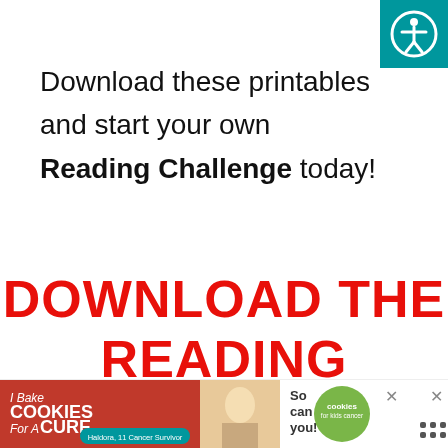[Figure (logo): Teal square with white accessibility icon (person with arms extended in circle) in top-right corner]
Download these printables and start your own Reading Challenge today!
DOWNLOAD THE READING
[Figure (illustration): Advertisement banner: 'I Bake COOKIES For A CURE' with photo of girl and 'So can you! cookies for kids cancer' branding with X close buttons]